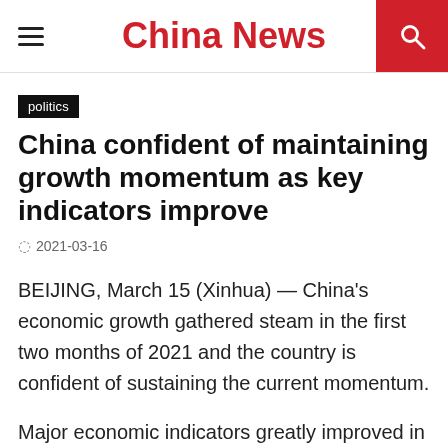China News
politics
China confident of maintaining growth momentum as key indicators improve
2021-03-16
BEIJING, March 15 (Xinhua) — China's economic growth gathered steam in the first two months of 2021 and the country is confident of sustaining the current momentum.
Major economic indicators greatly improved in the period, with industrial output, retail sales and